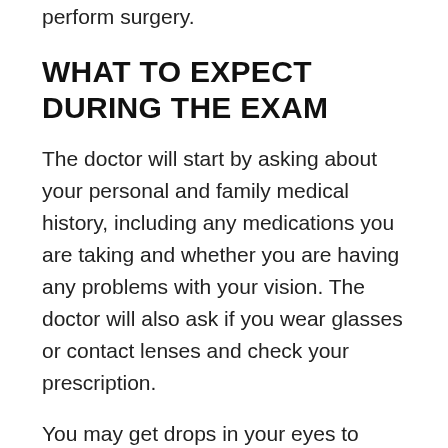perform surgery.
WHAT TO EXPECT DURING THE EXAM
The doctor will start by asking about your personal and family medical history, including any medications you are taking and whether you are having any problems with your vision. The doctor will also ask if you wear glasses or contact lenses and check your prescription.
You may get drops in your eyes to numb them so your doctor can examine them without you feeling any discomfort. The pupils of your eyes